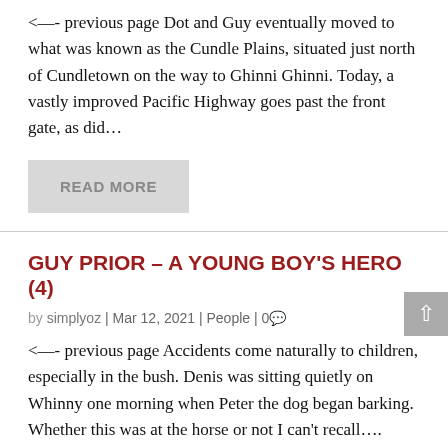<—- previous page Dot and Guy eventually moved to what was known as the Cundle Plains, situated just north of Cundletown on the way to Ghinni Ghinni. Today, a vastly improved Pacific Highway goes past the front gate, as did…
READ MORE
GUY PRIOR – A YOUNG BOY'S HERO (4)
by simplyoz | Mar 12, 2021 | People | 0
<—- previous page Accidents come naturally to children, especially in the bush. Denis was sitting quietly on Whinny one morning when Peter the dog began barking. Whether this was at the horse or not I can't recall….
READ MORE